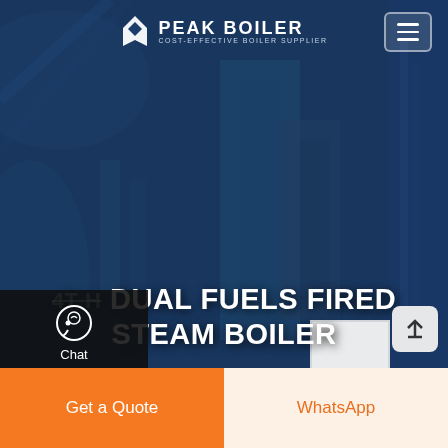[Figure (screenshot): Peak Boiler website screenshot showing a dark blue industrial boiler background image with logo, navigation, side chat/email/contact panel, and page title '4T H DUAL FUELS FIRED STEAM BOILER']
PEAK BOILER — COST-EFFECTIVE BOILER SUPPLIER
4T H DUAL FUELS FIRED STEAM BOILER
Chat
Email
Contact
Get a Quote
WhatsApp